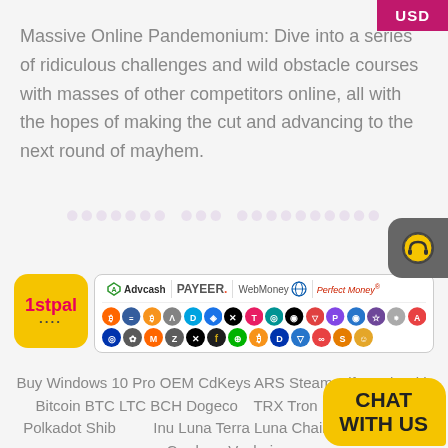USD
Massive Online Pandemonium: Dive into a series of ridiculous challenges and wild obstacle courses with masses of other competitors online, all with the hopes of making the cut and advancing to the next round of mayhem.
[Figure (logo): 1stpal logo with payment method icons including Advcash, PAYEER, WebMoney, Perfect Money, and many cryptocurrency icons]
Buy Windows 10 Pro OEM CdKeys ARS Steam Gift cards with Bitcoin BTC LTC BCH Dogecoin TRX Tron Polygon Avax Polkadot Shiba Inu Luna Terra Luna Chainlink Neo Matic Cardano Vechain
[Figure (illustration): CHAT with us yellow speech bubble chat widget]